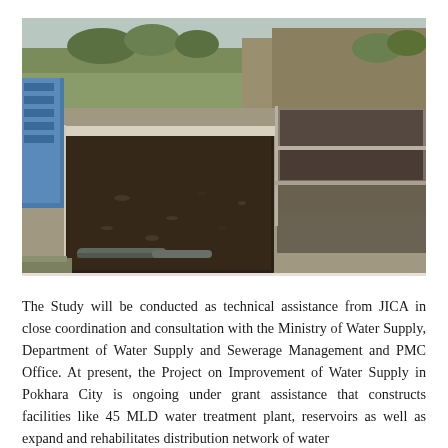[Figure (photo): Outdoor photograph of a water treatment facility showing rectangular concrete settling/filtration basins with dark muddy surfaces, concrete walls, pipes in the foreground, a blue structure on the left side, and a hillside with trees and vegetation in the background.]
The Study will be conducted as technical assistance from JICA in close coordination and consultation with the Ministry of Water Supply, Department of Water Supply and Sewerage Management and PMC Office. At present, the Project on Improvement of Water Supply in Pokhara City is ongoing under grant assistance that constructs facilities like 45 MLD water treatment plant, reservoirs as well as expand and rehabilitates distribution network of water